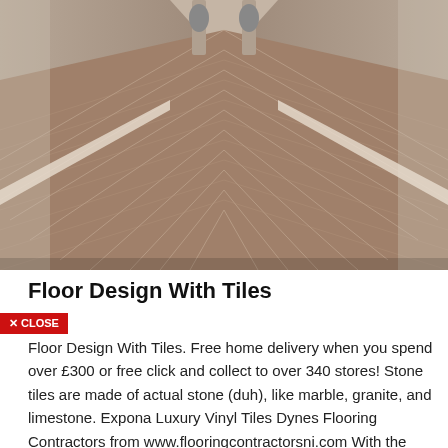[Figure (photo): Herringbone patterned wood-look floor tiles in a corridor with beige walls and pillars, photographed from a low angle showing a symmetrical V-pattern perspective]
Floor Design With Tiles
✕ CLOSE
Floor Design With Tiles. Free home delivery when you spend over £300 or free click and collect to over 340 stores! Stone tiles are made of actual stone (duh), like marble, granite, and limestone. Expona Luxury Vinyl Tiles Dynes Flooring Contractors from www.flooringcontractorsni.com With the